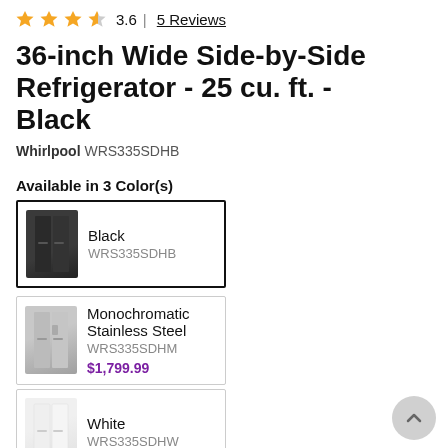3.6 | 5 Reviews
36-inch Wide Side-by-Side Refrigerator - 25 cu. ft. - Black
Whirlpool WRS335SDHB
Available in 3 Color(s)
Black WRS335SDHB
Monochromatic Stainless Steel WRS335SDHM $1,799.99
White WRS335SDHW
Features
Frameless Glass Shelves
Adjustable Gallon Door Bins